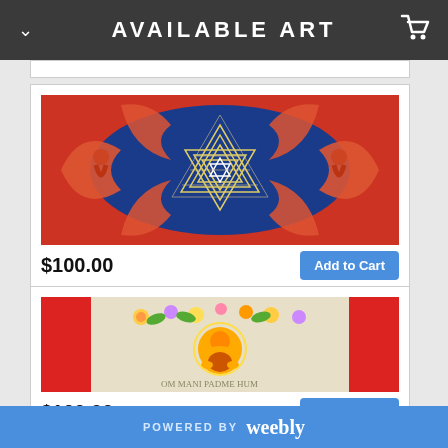AVAILABLE ART
[Figure (illustration): Colorful painting showing figures dancing around a Sri Yantra geometric pattern on a red and blue background]
$100.00
[Figure (illustration): Colorful painting of a meditating Buddha figure surrounded by flowers with red vertical panels on the sides]
$100.00
POWERED BY weebly